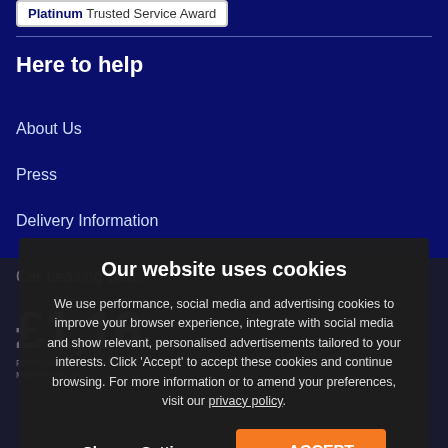[Figure (logo): Platinum Trusted Service Award badge/label with bold Platinum text]
Here to help
About Us
Press
Delivery Information
Car Leasing Dea...
£1,16...
PERSONAL PRICE PER MONTH INC VAT
Our website uses cookies
We use performance, social media and advertising cookies to improve your browser experience, integrate with social media and show relevant, personalised advertisements tailored to your interests. Click 'Accept' to accept these cookies and continue browsing. For more information or to amend your preferences, visit our privacy policy.
Change Settings
ACCEPT